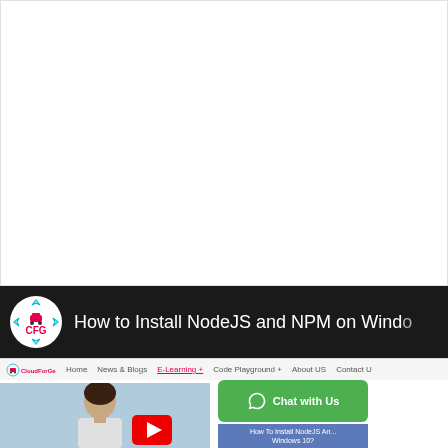[Figure (screenshot): White blank area at top of page (advertisement or empty space)]
How to Install NodeJS and NPM on Windows 10?
[Figure (logo): CFG CloudForGeeks logo in white circle on black header bar]
[Figure (screenshot): Website navigation bar with CloudForGeeks logo, Home, News & Blogs, E-Learning, Code Playground, About US, Contact US]
[Figure (photo): Person (man) standing with airplane in background]
[Figure (screenshot): Green Chat with Us WhatsApp button]
How To Install NodeJS And NPM On Windows 10?